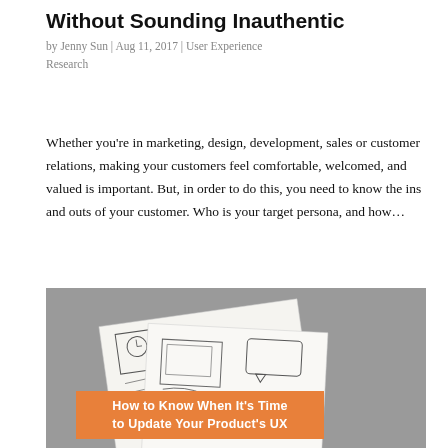Without Sounding Inauthentic
by Jenny Sun | Aug 11, 2017 | User Experience Research
Whether you’re in marketing, design, development, sales or customer relations, making your customers feel comfortable, welcomed, and valued is important. But, in order to do this, you need to know the ins and outs of your customer. Who is your target persona, and how…
[Figure (photo): A photo of hand-drawn UX wireframes on paper, overlaid with an orange banner reading 'How to Know When It's Time to Update Your Product's UX']